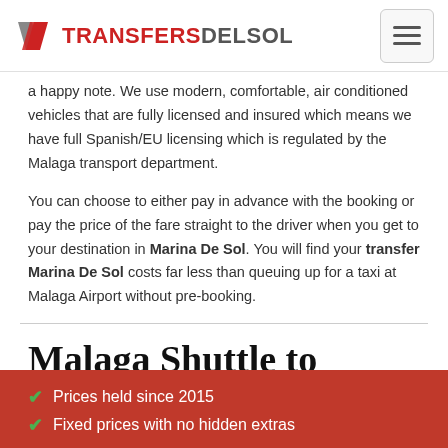TRANSFERSDELSOL
a happy note. We use modern, comfortable, air conditioned vehicles that are fully licensed and insured which means we have full Spanish/EU licensing which is regulated by the Malaga transport department.
You can choose to either pay in advance with the booking or pay the price of the fare straight to the driver when you get to your destination in Marina De Sol. You will find your transfer Marina De Sol costs far less than queuing up for a taxi at Malaga Airport without pre-booking.
Malaga Shuttle to Marina De Sol
Prices held since 2015
Fixed prices with no hidden extras